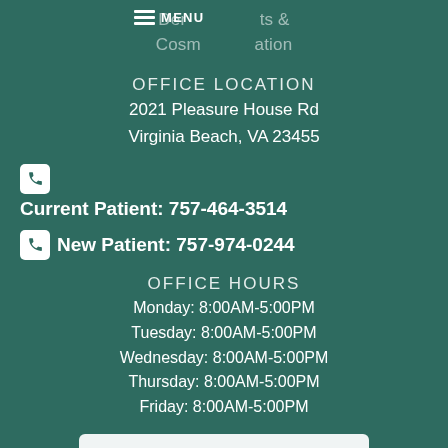Dermal Implants & Cosmetic Restoration
OFFICE LOCATION
2021 Pleasure House Rd
Virginia Beach, VA 23455
Current Patient: 757-464-3514
New Patient: 757-974-0244
OFFICE HOURS
Monday: 8:00AM-5:00PM
Tuesday: 8:00AM-5:00PM
Wednesday: 8:00AM-5:00PM
Thursday: 8:00AM-5:00PM
Friday: 8:00AM-5:00PM
Schedule Your Appointment ›